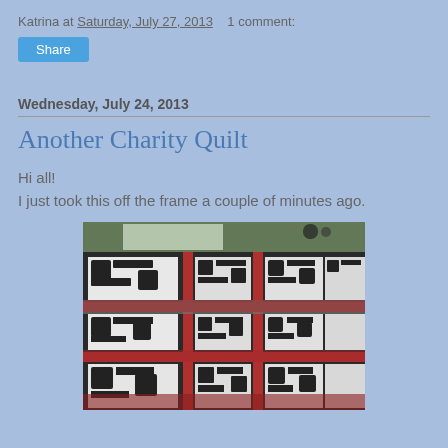Katrina at Saturday, July 27, 2013    1 comment:
Share
Wednesday, July 24, 2013
Another Charity Quilt
Hi all!
I just took this off the frame a couple of minutes ago.
[Figure (photo): A black and white patterned charity quilt with red sashing, displayed on a surface. The quilt features geometric Greek key or maze-like patterns in black and white fabric squares separated by red strips.]